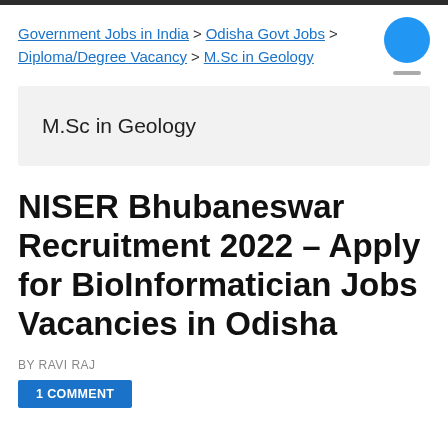Government Jobs in India > Odisha Govt Jobs > Diploma/Degree Vacancy > M.Sc in Geology
M.Sc in Geology
NISER Bhubaneswar Recruitment 2022 – Apply for BioInformatician Jobs Vacancies in Odisha
BY RAVI RAJ
1 COMMENT